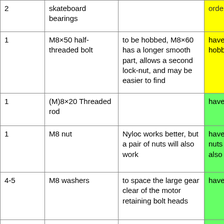| Qty | Part | Notes | Status |
| --- | --- | --- | --- |
| 2 | skateboard bearings |  | ordered |
| 1 | M8×50 half-threaded bolt | to be hobbed, M8×60 has a longer smooth part, allows a second lock-nut, and may be easier to find | have (to be hobbed) |
| 1 | (M)8×20 Threaded rod |  | have |
| 1 | M8 nut | Nyloc works better, but a pair of nuts will also work | have a pair of nuts (maybe also nyloc) |
| 4-5 | M8 washers | to space the large gear clear of the motor retaining bolt heads | have |
| 1 | 608 bearing, skateboard bearing |  | have |